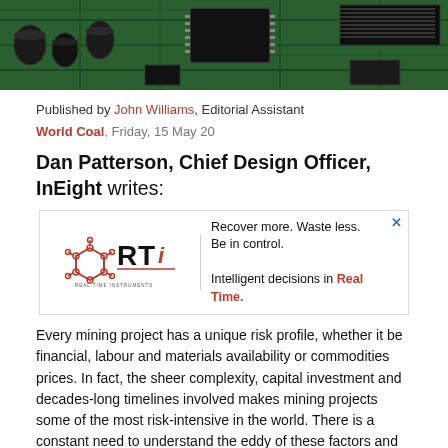[Figure (photo): Close-up photograph of a green circuit board with electronic components, capacitors, and microchips]
Published by John Williams, Editorial Assistant
World Coal, Friday, 15 May 20
Dan Patterson, Chief Design Officer, InEight writes:
[Figure (other): Advertisement for RTI (Real Time Instruments): Recover more. Waste less. Be in control. Intelligent decisions in Real Time.]
Every mining project has a unique risk profile, whether it be financial, labour and materials availability or commodities prices. In fact, the sheer complexity, capital investment and decades-long timelines involved makes mining projects some of the most risk-intensive in the world. There is a constant need to understand the eddy of these factors and how they may impact project execution.
Augmented intelligence – the combination of human experience, risk intelligence and artificial intelligence – has much to offer mining projects in this respect. The confluence of these three elements creates the ultimate asset in any mine operator's toolbox: project confidence.